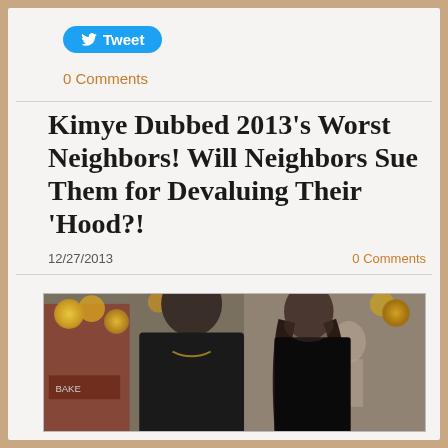[Figure (other): Twitter Tweet button (blue pill-shaped button with bird icon and 'Tweet' text)]
0 Comments
Kimye Dubbed 2013's Worst Neighbors! Will Neighbors Sue Them for Devaluing Their 'Hood?!
12/27/2013
0 Comments
[Figure (photo): Photo of a man and woman (Kanye West and Kim Kardashian) walking together on a street, man wearing dark t-shirt, woman wearing dark clothing, urban street background with warm-toned lights]